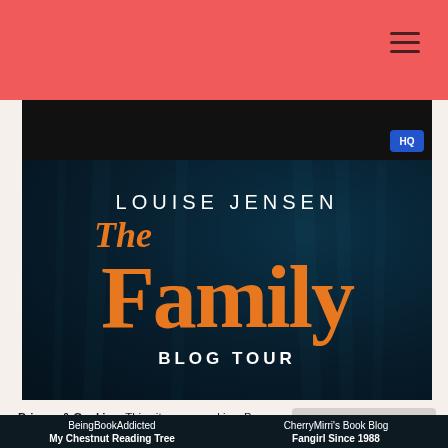[Figure (screenshot): Dark video player strip at top with HQ badge in bottom right corner]
[Figure (illustration): Book blog tour banner for 'The Family' by Louise Jensen. Dark teal forest background, author name in white uppercase letters, 'The' in orange italic, 'Family' in large bold orange, 'BLOG TOUR' in white uppercase below.]
Privacy & Cookies: This site uses cookies. By continuing to use this website, you agree to their use.
To find out more, including how to control cookies, see here: Cookie Policy
Close and accept
BeingBookAddicted
My Chestnut Reading Tree
CherryMirri's Book Blog
Fangirl Since 1988